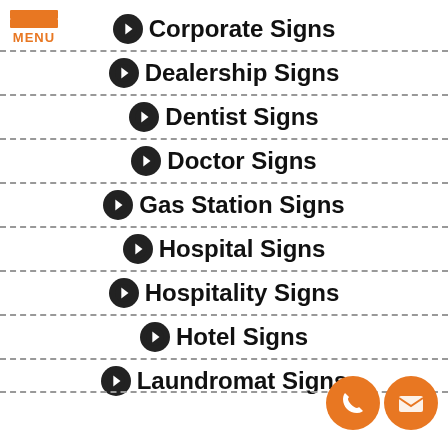[Figure (logo): Orange hamburger menu icon with MENU label]
Corporate Signs
Dealership Signs
Dentist Signs
Doctor Signs
Gas Station Signs
Hospital Signs
Hospitality Signs
Hotel Signs
Laundromat Signs
[Figure (illustration): Two orange circular contact icons: phone and email]